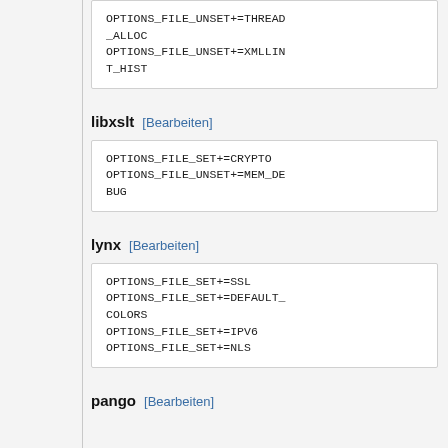OPTIONS_FILE_UNSET+=THREAD_ALLOC
OPTIONS_FILE_UNSET+=XMLLINT_HIST
libxslt [Bearbeiten]
OPTIONS_FILE_SET+=CRYPTO
OPTIONS_FILE_UNSET+=MEM_DEBUG
lynx [Bearbeiten]
OPTIONS_FILE_SET+=SSL
OPTIONS_FILE_SET+=DEFAULT_COLORS
OPTIONS_FILE_SET+=IPV6
OPTIONS_FILE_SET+=NLS
pango [Bearbeiten]